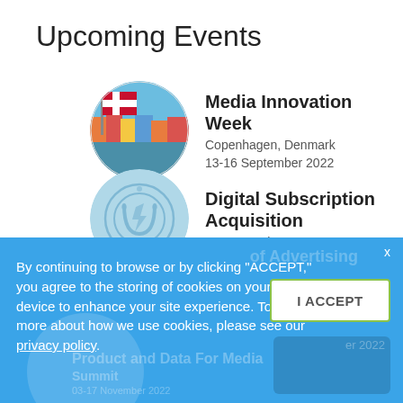Upcoming Events
[Figure (photo): Circular photo of Copenhagen harbor with Danish flag]
Media Innovation Week
Copenhagen, Denmark
13-16 September 2022
[Figure (logo): Circular light-blue logo with subscription/media iconography]
Digital Subscription Acquisition
04-18 October 2022
By continuing to browse or by clicking “ACCEPT,” you agree to the storing of cookies on your device to enhance your site experience. To learn more about how we use cookies, please see our privacy policy.